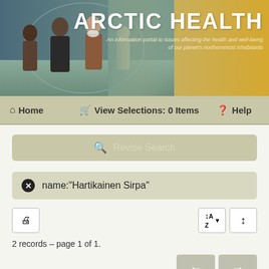[Figure (photo): Arctic Health banner with photo of people in winter clothing on left, golden/sandy background on right with site title and subtitle]
Home  View Selections: 0 Items  Help
Revise Search
name:"Hartikainen Sirpa"
2 records – page 1 of 1.
Number of teeth and myocardial